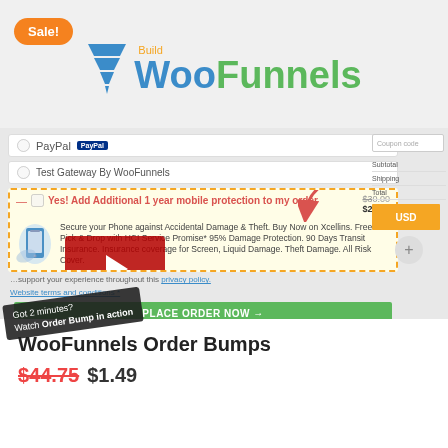[Figure (logo): Sale badge (orange oval) and BuildWooFunnels logo with funnel icon, 'Woo' in blue and 'Funnels' in green]
[Figure (screenshot): WooCommerce checkout page screenshot showing PayPal option, Test Gateway by WooFunnels, an Order Bump box with yellow background and dashed orange border offering '1 year mobile protection' originally $30.00 now $25.00, phone image, description text, a red video play overlay, a red arrow annotation, 'Got 2 minutes? Watch Order Bump in action' label, and a green PLACE ORDER NOW button. Right sidebar shows Coupon code input, Subtotal, Shipping, Total rows, USD orange button, and plus circle.]
WooFunnels Order Bumps
$44.75 $1.49